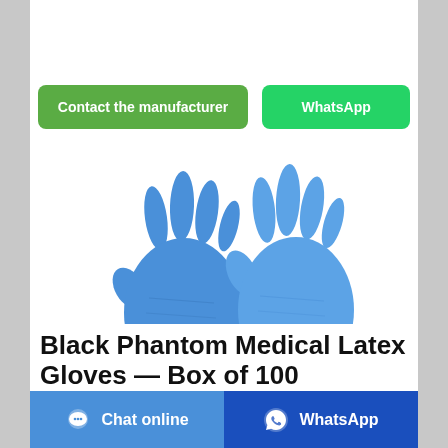[Figure (other): Two blue nitrile/latex medical gloves displayed side by side against white background]
Contact the manufacturer
WhatsApp
Black Phantom Medical Latex Gloves — Box of 100
Chat online
WhatsApp